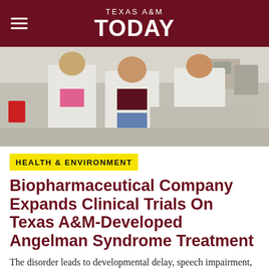TEXAS A&M TODAY
[Figure (photo): Three researchers in white lab coats standing in a laboratory setting with lab equipment visible in the background.]
HEALTH & ENVIRONMENT
Biopharmaceutical Company Expands Clinical Trials On Texas A&M-Developed Angelman Syndrome Treatment
The disorder leads to developmental delay, speech impairment, movement or balance disorders, and seizures.